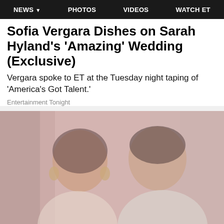NEWS  PHOTOS  VIDEOS  WATCH ET
Sofia Vergara Dishes on Sarah Hyland's 'Amazing' Wedding (Exclusive)
Vergara spoke to ET at the Tuesday night taping of 'America's Got Talent.'
Entertainment Tonight
[Figure (photo): A couple posing together in a faded/vintage style photograph. A woman with dark hair and hoop earrings on the left, a man with short dark hair on the right, both smiling.]